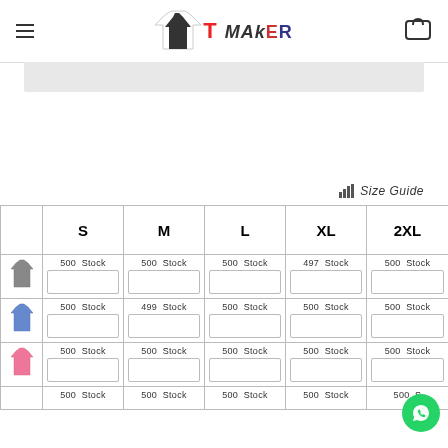T Maker logo with hamburger menu and cart icon
[Figure (screenshot): Partial banner/slider image at top of page]
Size Guide
|  | S | M | L | XL | 2XL |
| --- | --- | --- | --- | --- | --- |
| [grey shirt icon] | 500 Stock [input] | 500 Stock [input] | 500 Stock [input] | 497 Stock [input] | 500 Stock [input] |
| [blue shirt icon] | 500 Stock [input] | 499 Stock [input] | 500 Stock [input] | 500 Stock [input] | 500 Stock [input] |
| [pink shirt icon] | 500 Stock [input] | 500 Stock [input] | 500 Stock [input] | 500 Stock [input] | 500 Stock [input] |
| [grey icon] | 500 Stock [input] | 500 Stock [input] | 500 Stock [input] | 500 Stock [input] | 500 S... |